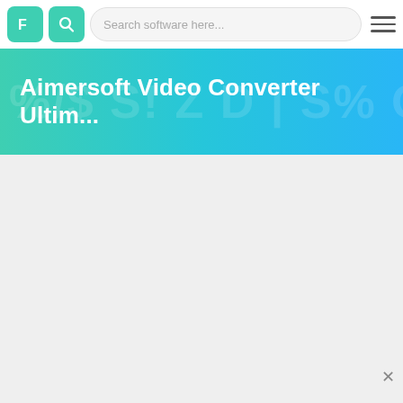[Figure (screenshot): Website header with a teal logo button (F icon), teal search icon button, search bar with placeholder 'Search software here...', and a hamburger menu icon on the right.]
Aimersoft Video Converter Ultim...
[Figure (other): Light gray empty content area with a close (x) button in the lower right corner.]